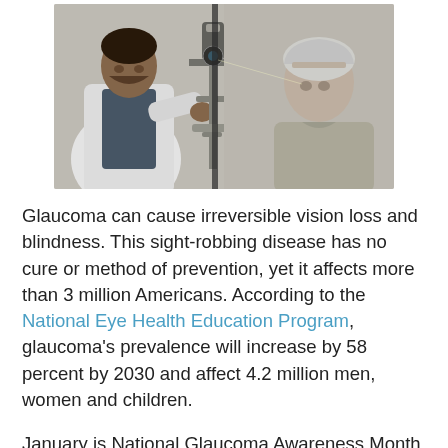[Figure (photo): A doctor (wearing a white coat) using an ophthalmic slit lamp to examine the eyes of an elderly patient. The doctor is on the left side and the older patient is on the right side, facing each other across the medical equipment.]
Glaucoma can cause irreversible vision loss and blindness. This sight-robbing disease has no cure or method of prevention, yet it affects more than 3 million Americans. According to the National Eye Health Education Program, glaucoma's prevalence will increase by 58 percent by 2030 and affect 4.2 million men, women and children.
January is National Glaucoma Awareness Month, so it's wise to take some time to learn